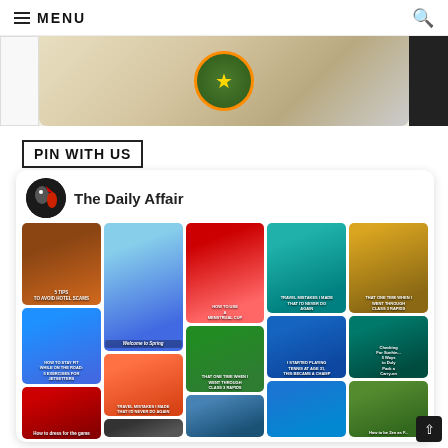MENU
[Figure (photo): Partial hero image showing fabric/clothing with a green circular badge/seal with orange star, on a beige/cream background]
PIN WITH US
[Figure (screenshot): Pinterest widget showing 'The Daily Affair' profile with a grid of pinned images including travel, fashion, fitness, and lifestyle photos]